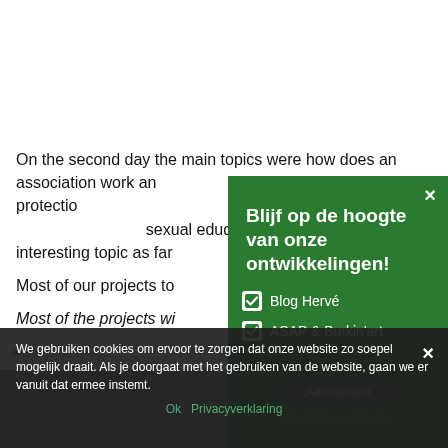On the second day the main topics were how does an association work and how does it get funding for menstrual protection kits. There was also a presentation of the kits themselves and a sexual education lecture, which was an interesting topic as far as the kits were concerned.
Most of our projects to...
Most of the projects wi...
[Figure (screenshot): Green popup overlay with text 'Blijf op de hoogte van onze ontwikkelingen!' and checkboxes for Blog Hervé and ASAP & Burkin'art, with a close X button and scroll-up arrow button]
We gebruiken cookies om ervoor te zorgen dat onze website zo soepel mogelijk draait. Als je doorgaat met het gebruiken van de website, gaan we er vanuit dat ermee instemt.
Ok  Privacyverklaring